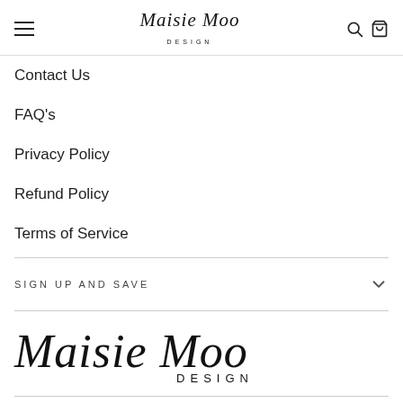Maisie Moo Design — navigation header with hamburger menu, logo, search and cart icons
Contact Us
FAQ's
Privacy Policy
Refund Policy
Terms of Service
SIGN UP AND SAVE
[Figure (logo): Maisie Moo Design logo — large script font with DESIGN in uppercase spaced letters below]